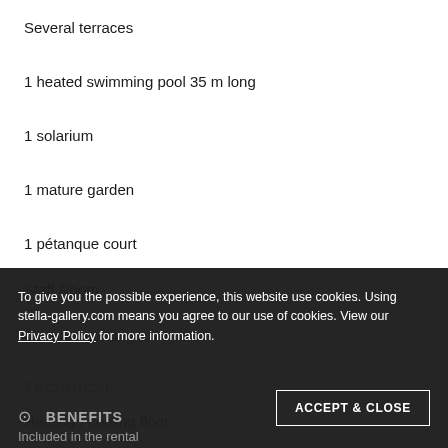Several terraces
1 heated swimming pool 35 m long
1 solarium
1 mature garden
1 pétanque court
Staff Room
Covered parking for 3 cars
TECHNICAL
Heating / cooling floor
All rooms have a reversible air conditioning hot / cold installed invisibly
1 pool heater
BENEFITS
Included in the rental